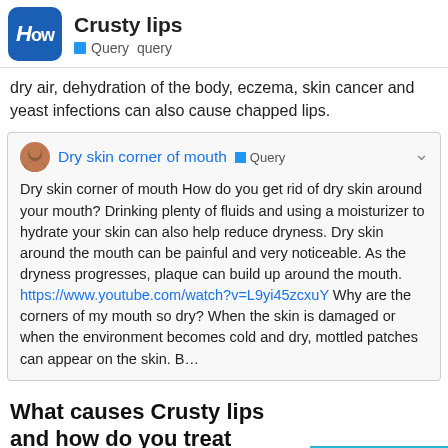Crusty lips | Query query
dry air, dehydration of the body, eczema, skin cancer and yeast infections can also cause chapped lips.
Dry skin corner of mouth Query
Dry skin corner of mouth How do you get rid of dry skin around your mouth? Drinking plenty of fluids and using a moisturizer to hydrate your skin can also help reduce dryness. Dry skin around the mouth can be painful and very noticeable. As the dryness progresses, plaque can build up around the mouth. https://www.youtube.com/watch?v=L9yi45zcxuY Why are the corners of my mouth so dry? When the skin is damaged or when the environment becomes cold and dry, mottled patches can appear on the skin. B…
What causes Crusty lips and how do you treat them?